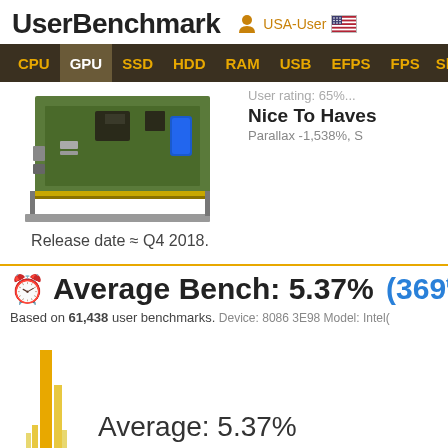UserBenchmark  USA-User
[Figure (screenshot): Navigation bar with links: CPU, GPU (active), SSD, HDD, RAM, USB, EFPS, FPS, SK]
[Figure (photo): GPU circuit board image - green PCB with ports and blue capacitor]
User rating: 65%...
Nice To Haves
Parallax -1,538%, S
Release date ≈ Q4 2018.
Average Bench: 5.37% (369th of 6...
Based on 61,438 user benchmarks. Device: 8086 3E98 Model: Intel(
[Figure (bar-chart): Histogram showing distribution with orange/yellow bars near 5.37% average mark]